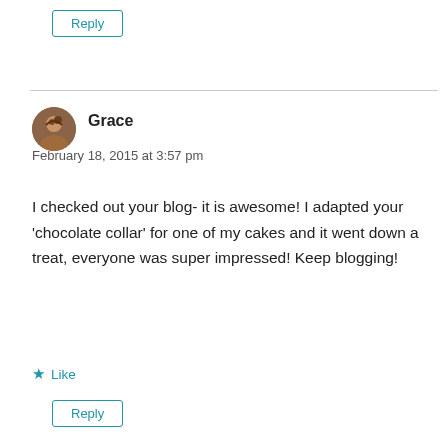Reply (button, top)
Grace
February 18, 2015 at 3:57 pm
I checked out your blog- it is awesome! I adapted your ‘chocolate collar’ for one of my cakes and it went down a treat, everyone was super impressed! Keep blogging!
★ Like
Reply (button, bottom)